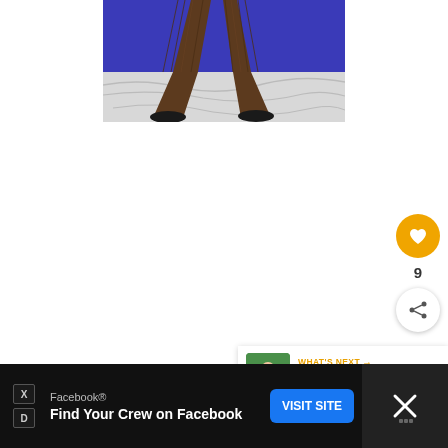[Figure (photo): Lower half of a person wearing wide-leg brown trousers and black shoes, standing against a blue background with white fabric on the floor]
[Figure (infographic): Like button (gold circle with heart icon), like count '9', and share button (white circle with share icon)]
[Figure (photo): What's Next panel showing thumbnail of person in green shirt with text 'WHAT'S NEXT — Miss Fancy Pants']
[Figure (screenshot): Facebook advertisement bar: 'Facebook® Find Your Crew on Facebook' with VISIT SITE button, close X button, and sponsored icon on black background]